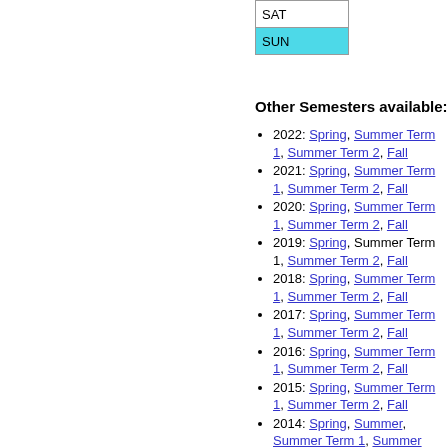| SAT |
| SUN |
Other Semesters available:
2022: Spring, Summer Term 1, Summer Term 2, Fall
2021: Spring, Summer Term 1, Summer Term 2, Fall
2020: Spring, Summer Term 1, Summer Term 2, Fall
2019: Spring, Summer Term 1, Summer Term 2, Fall
2018: Spring, Summer Term 1, Summer Term 2, Fall
2017: Spring, Summer Term 1, Summer Term 2, Fall
2016: Spring, Summer Term 1, Summer Term 2, Fall
2015: Spring, Summer Term 1, Summer Term 2, Fall
2014: Spring, Summer, Summer Term 1, Summer Term 2, Fall
2013: Spring, Summer, Summer Term 1, Summer Term 2, Fall
2012: Spring, Summer, Summer Term 1, Summer Term 2, Fall
2011: Spring, Summer, Summer Term 1, Summer Term 2, Fall
2010: Spring, Summer, Summer Term 1, Summer Term 2, Fall
2009: Spring, Summer, Summer Term 1, Summer Term 2, Fall
2008: Spring, Summer, Summer Term 1, Summer Term 2, Fall
2007: Spring, Summer, Summer Term 1, Summer Term 2, Fall
2006: Spring, Summer Term 1, Summer Term 2, Fall
2005: Spring, Summer Term 1, Summer Term 2, Fall
2004: Spring, Summer Term 1, Summer Term 2, Fall